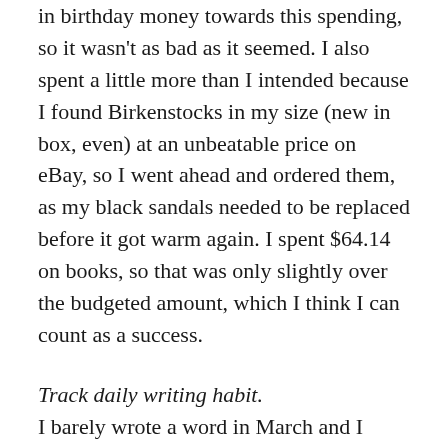in birthday money towards this spending, so it wasn't as bad as it seemed. I also spent a little more than I intended because I found Birkenstocks in my size (new in box, even) at an unbeatable price on eBay, so I went ahead and ordered them, as my black sandals needed to be replaced before it got warm again. I spent $64.14 on books, so that was only slightly over the budgeted amount, which I think I can count as a success.
Track daily writing habit. I barely wrote a word in March and I didn't track it at all. This was just a failure all around, although I think it may have been a necessary break. Next month is Camp Nanowrimo, so I will likely get back into my daily habit then.